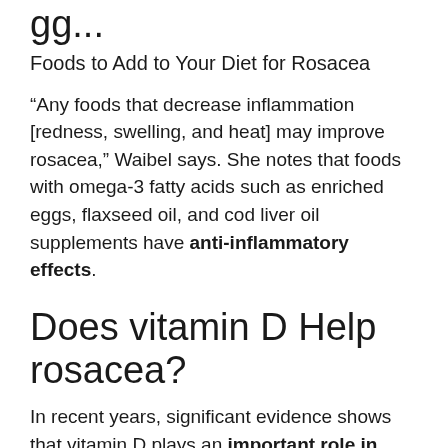Foods to Add to Your Diet for Rosacea
“Any foods that decrease inflammation [redness, swelling, and heat] may improve rosacea,” Waibel says. She notes that foods with omega-3 fatty acids such as enriched eggs, flaxseed oil, and cod liver oil supplements have anti-inflammatory effects.
Does vitamin D Help rosacea?
In recent years, significant evidence shows that vitamin D plays an important role in modulating the immune system. Vitamin D...